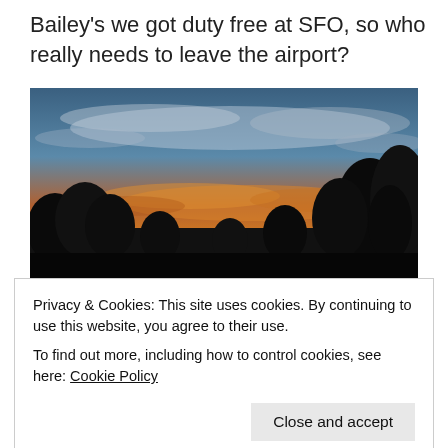Bailey's we got duty free at SFO, so who really needs to leave the airport?
[Figure (photo): Sunset or sunrise photograph showing silhouettes of trees against a dramatic sky with orange and blue hues and wispy clouds]
My last California sunrise for a while, photo by Daniel
Privacy & Cookies: This site uses cookies. By continuing to use this website, you agree to their use.
To find out more, including how to control cookies, see here: Cookie Policy
Close and accept
A driving into town at SFO, we had to leave some details